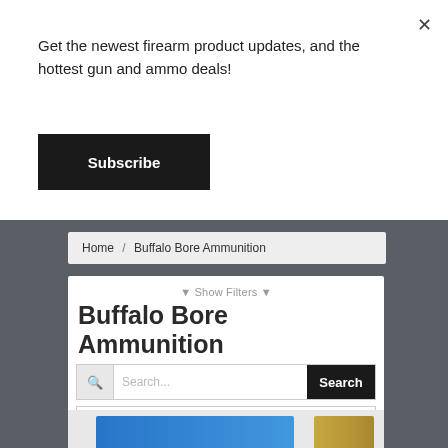Get the newest firearm product updates, and the hottest gun and ammo deals!
Subscribe
×
Home / Buffalo Bore Ammunition
▼ Show Filters ▼
Buffalo Bore Ammunition
Search...
Search
Sort by popularity